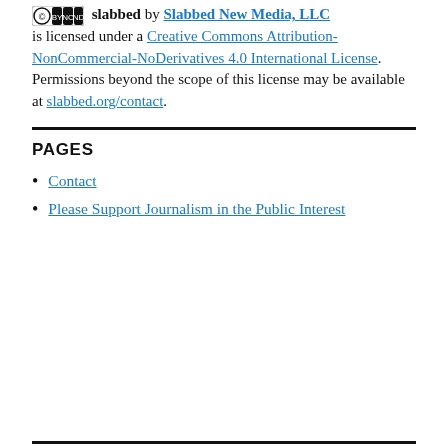slabbed by Slabbed New Media, LLC is licensed under a Creative Commons Attribution-NonCommercial-NoDerivatives 4.0 International License. Permissions beyond the scope of this license may be available at slabbed.org/contact.
PAGES
Contact
Please Support Journalism in the Public Interest